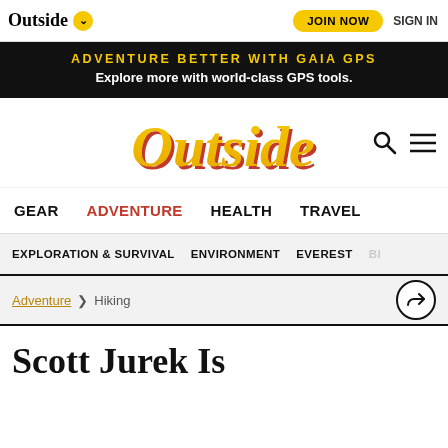Outside ∨   JOIN NOW   SIGN IN
[Figure (infographic): Black promotional banner: ADVENTURE BETTER WITH GAIA GPS - Explore more with world-class GPS tools.]
[Figure (logo): Outside magazine logo in gold/yellow with red shadow, with search and hamburger menu icons]
GEAR   ADVENTURE   HEALTH   TRAVEL
EXPLORATION & SURVIVAL   ENVIRONMENT   EVEREST   BI...
Adventure > Hiking
Scott Jurek Is